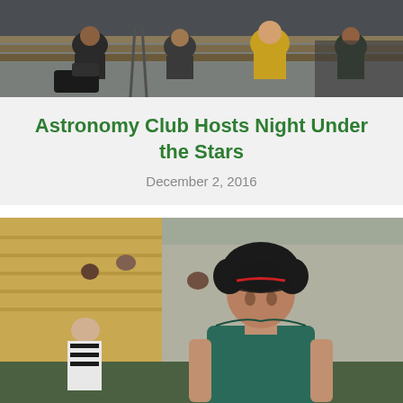[Figure (photo): Group of students sitting in bleachers, one wearing a yellow/green varsity jacket]
Astronomy Club Hosts Night Under the Stars
December 2, 2016
[Figure (photo): A wrestler in a teal singlet and black headgear stands on a mat, with a referee in white stripes visible to the left and bleachers with spectators in the background]